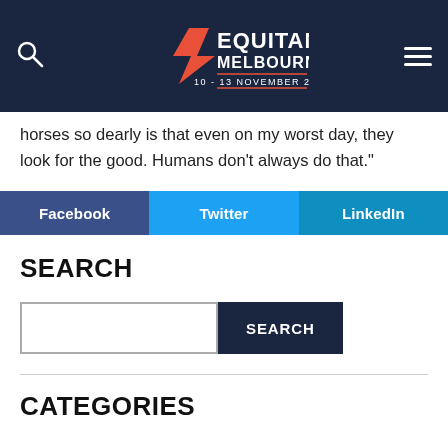Equitana Melbourne 10 - 13 November 2022
horses so dearly is that even on my worst day, they look for the good. Humans don't always do that."
[Figure (infographic): Social sharing buttons: Facebook (blue), Twitter (light blue), LinkedIn (teal blue)]
SEARCH
[Figure (other): Search input box and SEARCH button]
CATEGORIES